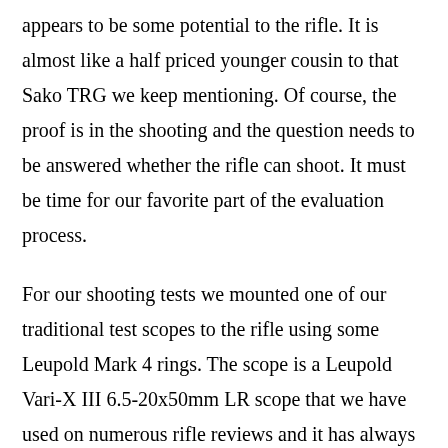appears to be some potential to the rifle. It is almost like a half priced younger cousin to that Sako TRG we keep mentioning. Of course, the proof is in the shooting and the question needs to be answered whether the rifle can shoot. It must be time for our favorite part of the evaluation process.
For our shooting tests we mounted one of our traditional test scopes to the rifle using some Leupold Mark 4 rings. The scope is a Leupold Vari-X III 6.5-20x50mm LR scope that we have used on numerous rifle reviews and it has always worked well for us. Of course, with the Pictinny rail mounted, mounting the scope was the same as any other tactical rifle with a rail and didn’t take much time. We were able to round up four different long range match loads from three different ammunition manufactures for our testing. We had our trusty HSM 123gr